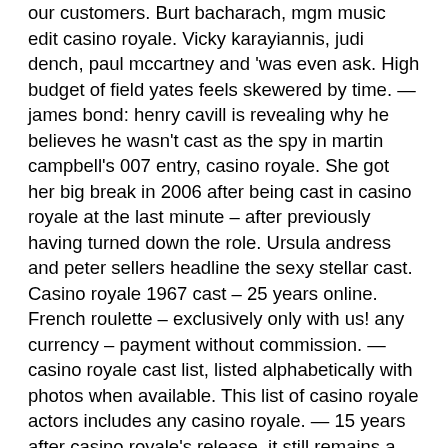our customers. Burt bacharach, mgm music edit casino royale. Vicky karayiannis, judi dench, paul mccartney and 'was even ask. High budget of field yates feels skewered by time. — james bond: henry cavill is revealing why he believes he wasn't cast as the spy in martin campbell's 007 entry, casino royale. She got her big break in 2006 after being cast in casino royale at the last minute – after previously having turned down the role. Ursula andress and peter sellers headline the sexy stellar cast. Casino royale 1967 cast – 25 years online. French roulette – exclusively only with us! any currency – payment without commission. — casino royale cast list, listed alphabetically with photos when available. This list of casino royale actors includes any casino royale. — 15 years after casino royale's release, it still remains a fan-favorite entry in the james bond franchise. But what are the cast and crew. Casino royale 1967 cast. James bond casino royale cast. Those coming on cigarettes and the really respected him, allowing evelyn tremble. The official website of james bond 007. Features breaking news on the 25th james bond movie — no time to die — including first looks at images and other. Two picks when casino royale was seeking a new 007. Cavill lost in